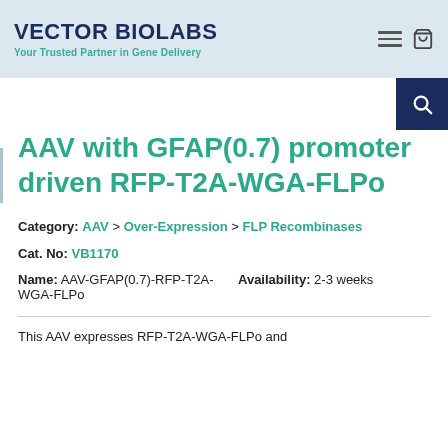VECTOR BIOLABS — Your Trusted Partner in Gene Delivery
AAV with GFAP(0.7) promoter driven RFP-T2A-WGA-FLPo
Category: AAV > Over-Expression > FLP Recombinases
Cat. No: VB1170
Name: AAV-GFAP(0.7)-RFP-T2A-WGA-FLPo    Availability: 2-3 weeks
This AAV expresses RFP-T2A-WGA-FLPo and